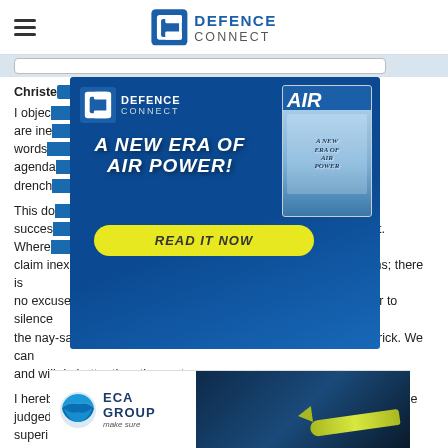DEFENCE CONNECT
[Figure (screenshot): Defence Connect website header with hamburger menu icon and Defence Connect logo]
Christopher
I object…wouts are ine…of words…litical agenda…drench…
[Figure (illustration): Defence Connect Air Power magazine popup advertisement with blue background, 'A NEW ERA OF AIR POWER!' text, Read It Now yellow button, and magazine cover image on the right]
This do…success…s to it. Where…ould claim inexperience with the protracted corrective process for Collins; there is no excuse for the FSP, and I for one will do everything in my power to silence the nay-sayers and political point-scorers such as the Senator Patrick. We can and will do better than the past
I hereby put on notice all the gainsayers of the FSP that it can and will be judged…ally superi…one person…ote of 18th January 2018, the first day of the fight back.
[Figure (illustration): ECA Group advertisement banner with logo (blue swirl, ECA GROUP, make sure) and underwater torpedo image on dark blue background]